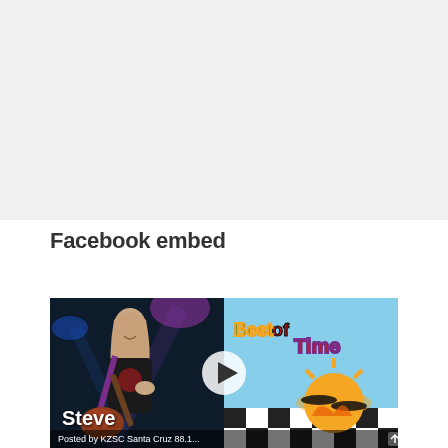Facebook embed
[Figure (screenshot): Facebook embedded video post showing a guitarist (Steve) on the left side performing on stage with purple lighting, and a colorful album art on the right side reading 'Best of Time' with a sun and record imagery. A play button overlay is centered on the image. Text 'Steve' appears at the bottom left and a partial caption 'Posted by KZSC Santa Cruz 88.1...' appears at the very bottom.]